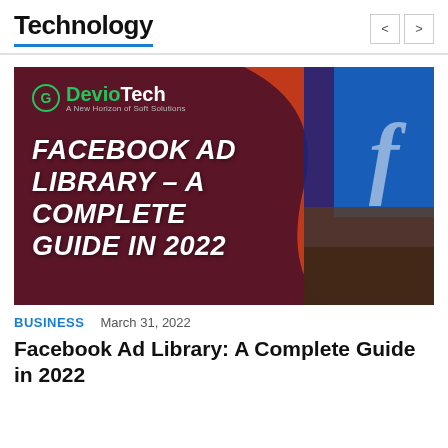Technology
[Figure (illustration): DevioTech promotional banner for 'Facebook Ad Library – A Complete Guide in 2022'. Dark maroon background on the left with large bold italic white text reading 'FACEBOOK AD LIBRARY – A COMPLETE GUIDE IN 2022' and the DevioTech logo top-left. Right side shows a blurred photo of hands on a laptop with a blue Facebook screen showing the 'f' logo.]
BUSINESS   March 31, 2022
Facebook Ad Library: A Complete Guide in 2022